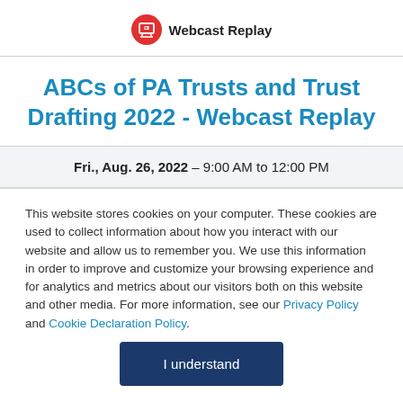[Figure (logo): Red circle with white monitor/TV icon labeled 'Webcast Replay']
ABCs of PA Trusts and Trust Drafting 2022 - Webcast Replay
Fri., Aug. 26, 2022 – 9:00 AM to 12:00 PM
This website stores cookies on your computer. These cookies are used to collect information about how you interact with our website and allow us to remember you. We use this information in order to improve and customize your browsing experience and for analytics and metrics about our visitors both on this website and other media. For more information, see our Privacy Policy and Cookie Declaration Policy.
I understand